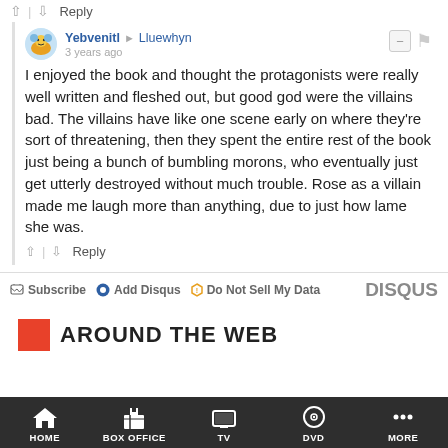↑ | ↓  Reply
Yebvenitl → Lluewhyn
3 years ago
I enjoyed the book and thought the protagonists were really well written and fleshed out, but good god were the villains bad. The villains have like one scene early on where they're sort of threatening, then they spent the entire rest of the book just being a bunch of bumbling morons, who eventually just get utterly destroyed without much trouble. Rose as a villain made me laugh more than anything, due to just how lame she was.
↑ | ↓  Reply
Subscribe  Add Disqus  Do Not Sell My Data   DISQUS
AROUND THE WEB
HOME  BOX OFFICE  TV  DVD  MORE